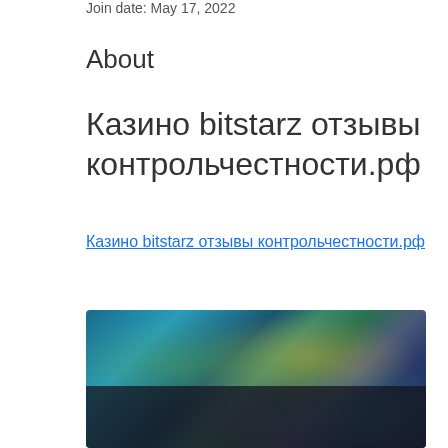Join date: May 17, 2022
About
Казино bitstarz отзывы контрольчестности.рф
Казино bitstarz отзывы контрольчестности.рф
[Figure (screenshot): Blurred screenshot of an online casino website showing colorful game thumbnails with animated characters on a dark background.]